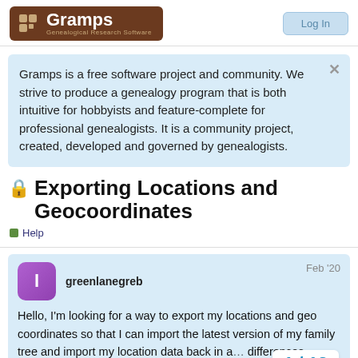Gramps — Genealogical Research Software
Gramps is a free software project and community. We strive to produce a genealogy program that is both intuitive for hobbyists and feature-complete for professional genealogists. It is a community project, created, developed and governed by genealogists.
🔒 Exporting Locations and Geocoordinates
Help
greenlanegreb — Feb '20
Hello, I'm looking for a way to export my locations and geo coordinates so that I can import the latest version of my family tree and import my location data back in a… differences please?
1 / 12